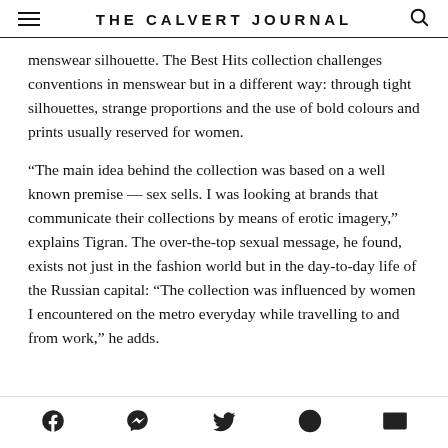THE CALVERT JOURNAL
menswear silhouette. The Best Hits collection challenges conventions in menswear but in a different way: through tight silhouettes, strange proportions and the use of bold colours and prints usually reserved for women.
“The main idea behind the collection was based on a well known premise — sex sells. I was looking at brands that communicate their collections by means of erotic imagery,” explains Tigran. The over-the-top sexual message, he found, exists not just in the fashion world but in the day-to-day life of the Russian capital: “The collection was influenced by women I encountered on the metro everyday while travelling to and from work,” he adds.
Social share icons: Facebook, Messenger, Twitter, WhatsApp, Email